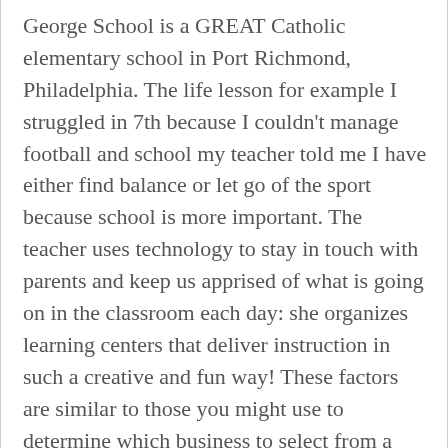George School is a GREAT Catholic elementary school in Port Richmond, Philadelphia. The life lesson for example I struggled in 7th because I couldn't manage football and school my teacher told me I have either find balance or let go of the sport because school is more important. The teacher uses technology to stay in touch with parents and keep us apprised of what is going on in the classroom each day: she organizes learning centers that deliver instruction in such a creative and fun way! These factors are similar to those you might use to determine which business to select from a local Yellow Pages directory, including proximity to where you are searching, expertise in the specific services or products you need, and comprehensive business information to help evaluate a business's suitability for you. Best Private High Schools; Best Catholic High